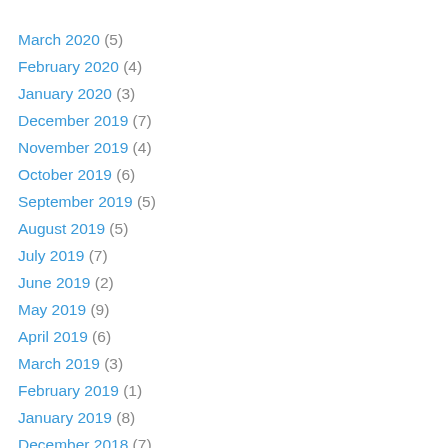March 2020 (5)
February 2020 (4)
January 2020 (3)
December 2019 (7)
November 2019 (4)
October 2019 (6)
September 2019 (5)
August 2019 (5)
July 2019 (7)
June 2019 (2)
May 2019 (9)
April 2019 (6)
March 2019 (3)
February 2019 (1)
January 2019 (8)
December 2018 (7)
November 2018 (4)
October 2018 (11)
September 2018 (8)
August 2018 (7)